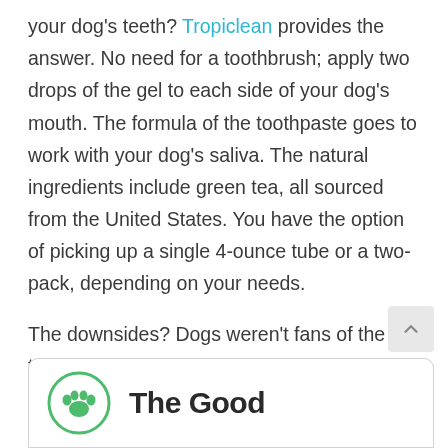your dog's teeth? Tropiclean provides the answer. No need for a toothbrush; apply two drops of the gel to each side of your dog's mouth. The formula of the toothpaste goes to work with your dog's saliva. The natural ingredients include green tea, all sourced from the United States. You have the option of picking up a single 4-ounce tube or a two-pack, depending on your needs.
The downsides? Dogs weren't fans of the taste. Also, owners reported their dogs ended up with upset stomachs.
The Good